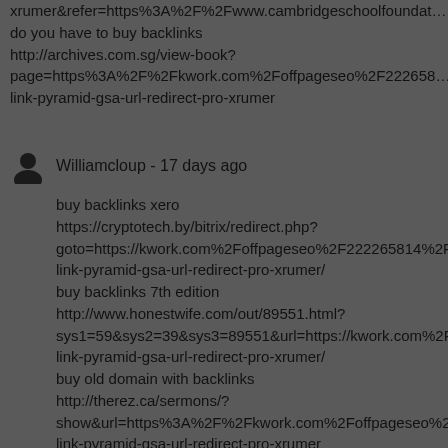xrumer&refer=https%3A%2F%2Fwww.cambridgeschoolfoundat…
do you have to buy backlinks
http://archives.com.sg/view-book?
page=https%3A%2F%2Fkwork.com%2Foffpageseo%2F222658…
link-pyramid-gsa-url-redirect-pro-xrumer
Williamcloup - 17 days ago
buy backlinks xero
https://cryptotech.by/bitrix/redirect.php?
goto=https://kwork.com%2Foffpageseo%2F222265814%2Fpowe…
link-pyramid-gsa-url-redirect-pro-xrumer/
buy backlinks 7th edition
http://www.honestwife.com/out/89551.html?
sys1=59&sys2=39&sys3=89551&url=https://kwork.com%2Foffp…
link-pyramid-gsa-url-redirect-pro-xrumer/
buy old domain with backlinks
http://therez.ca/sermons/?
show&url=https%3A%2F%2Fkwork.com%2Foffpageseo%2F22…
link-pyramid-gsa-url-redirect-pro-xrumer
buy backlinks zip code